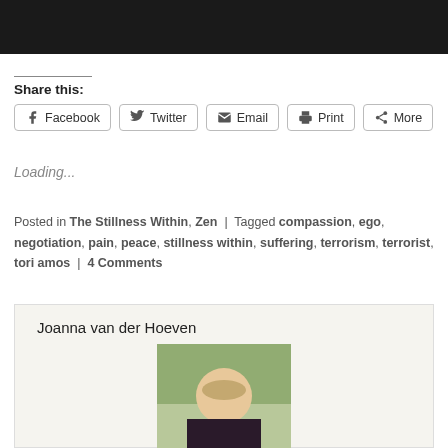[Figure (photo): Top portion of a photo, partially cropped, dark background]
Share this:
Facebook  Twitter  Email  Print  More
Loading...
Posted in The Stillness Within, Zen | Tagged compassion, ego, negotiation, pain, peace, stillness within, suffering, terrorism, terrorist, tori amos | 4 Comments
Joanna van der Hoeven
[Figure (photo): Portrait photo of Joanna van der Hoeven, a woman with short blonde hair outdoors]